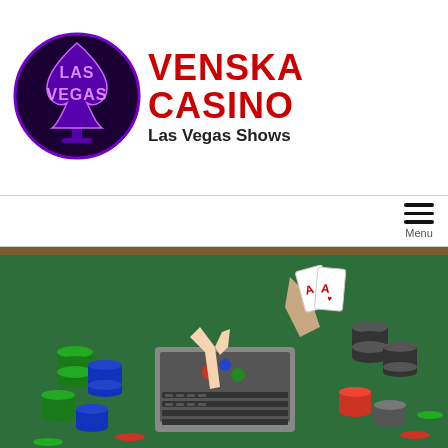[Figure (logo): Las Vegas Venska Casino logo with spade symbol and neon-style text]
VENSKA CASINO
Las Vegas Shows
[Figure (other): Hamburger menu icon with three horizontal lines and 'Menu' label]
[Figure (photo): Overhead view of casino table with green felt, poker chips, playing cards, and a laptop with hands pointing at it]